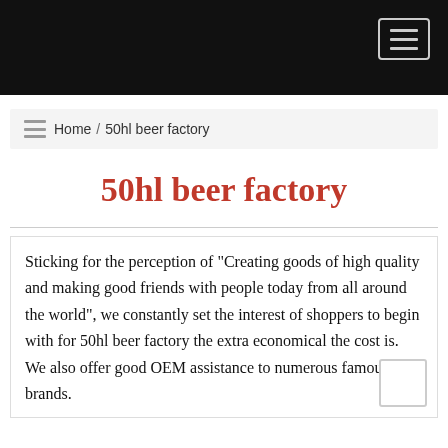Home / 50hl beer factory
50hl beer factory
Sticking for the perception of "Creating goods of high quality and making good friends with people today from all around the world", we constantly set the interest of shoppers to begin with for 50hl beer factory the extra economical the cost is. We also offer good OEM assistance to numerous famous brands.